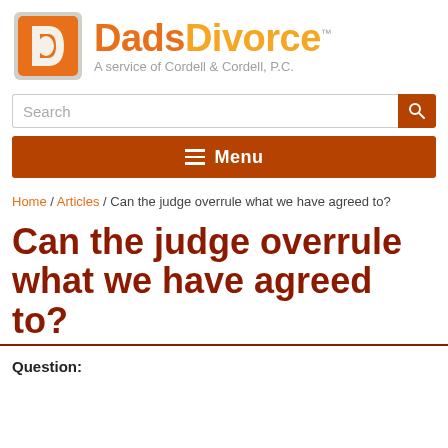[Figure (logo): DadsDivorce logo with orange D icon and text 'DadsDivorce TM' with subtitle 'A service of Cordell & Cordell, P.C.']
[Figure (other): Search input field with orange magnifying glass search button]
[Figure (other): Dark red/brown Menu navigation bar with hamburger icon and 'Menu' text]
Home / Articles / Can the judge overrule what we have agreed to?
Can the judge overrule what we have agreed to?
Question: